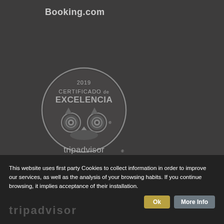Booking.com
[Figure (logo): TripAdvisor 2019 Certificado de Excelencia badge — circular grey badge with owl logo and text '2019 CERTIFICADO de EXCELENCIA' and 'tripadvisor' wordmark below]
This website uses first party Cookies to collect information in order to improve our services, as well as the analysis of your browsing habits. If you continue browsing, it implies acceptance of their installation.
Ok
More Info